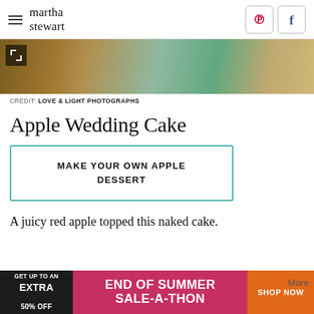martha stewart
[Figure (photo): Partial photo of a cake on a wooden surface with a teal/mint cake stand, cropped view]
CREDIT: LOVE & LIGHT PHOTOGRAPHS
Apple Wedding Cake
MAKE YOUR OWN APPLE DESSERT
A juicy red apple topped this naked cake.
[Figure (screenshot): Advertisement banner: GET UP TO AN EXTRA 50% OFF — END OF SUMMER SALE-A-THON — SHOP NOW]